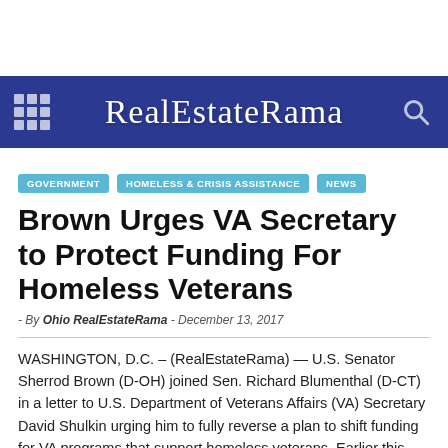RealEstateRama
GOVERNMENT
HOMELESS & CRISIS ASSISTANCE
NEWS
Brown Urges VA Secretary to Protect Funding For Homeless Veterans
- By Ohio RealEstateRama - December 13, 2017
WASHINGTON, D.C. – (RealEstateRama) — U.S. Senator Sherrod Brown (D-OH) joined Sen. Richard Blumenthal (D-CT) in a letter to U.S. Department of Veterans Affairs (VA) Secretary David Shulkin urging him to fully reverse a plan to shift funding for VA programs that support homeless veterans. Earlier this month, the VA